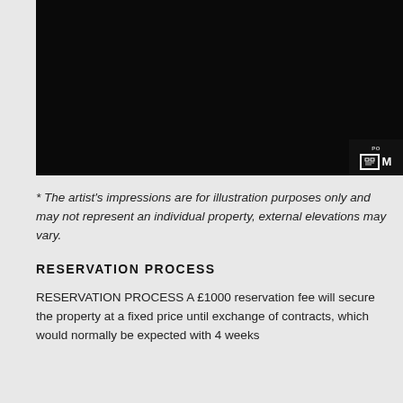[Figure (photo): Dark/black image area showing an artist's impression of a property exterior, partially cropped. A logo with 'PO' text and 'M' initial is visible in the bottom-right corner of the image.]
* The artist's impressions are for illustration purposes only and may not represent an individual property, external elevations may vary.
RESERVATION PROCESS
RESERVATION PROCESS A £1000 reservation fee will secure the property at a fixed price until exchange of contracts, which would normally be expected with 4 weeks